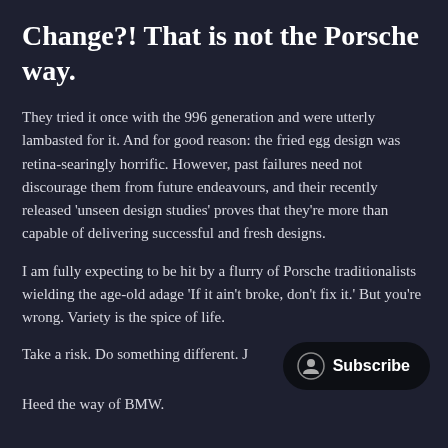Change?! That is not the Porsche way.
They tried it once with the 996 generation and were utterly lambasted for it. And for good reason: the fried egg design was retina-searingly horrific. However, past failures need not discourage them from future endeavours, and their recently released ‘unseen design studies’ proves that they’re more than capable of delivering successful and fresh designs.
I am fully expecting to be hit by a flurry of Porsche traditionalists wielding the age-old adage ‘If it ain’t broke, don’t fix it.’ But you’re wrong. Variety is the spice of life.
Take a risk. Do something different. J
Heed the way of BMW.